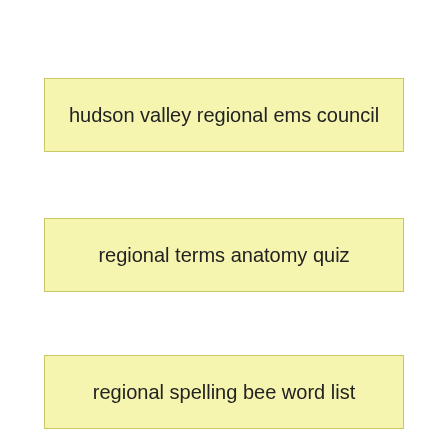hudson valley regional ems council
regional terms anatomy quiz
regional spelling bee word list